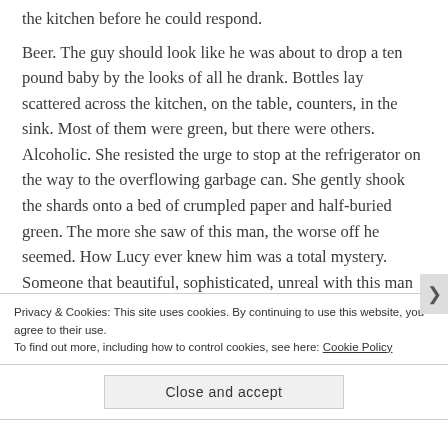the kitchen before he could respond.
Beer. The guy should look like he was about to drop a ten pound baby by the looks of all he drank. Bottles lay scattered across the kitchen, on the table, counters, in the sink. Most of them were green, but there were others. Alcoholic. She resisted the urge to stop at the refrigerator on the way to the overflowing garbage can. She gently shook the shards onto a bed of crumpled paper and half-buried green. The more she saw of this man, the worse off he seemed. How Lucy ever knew him was a total mystery. Someone that beautiful, sophisticated, unreal with this man—a bum one step up
Privacy & Cookies: This site uses cookies. By continuing to use this website, you agree to their use.
To find out more, including how to control cookies, see here: Cookie Policy
Close and accept